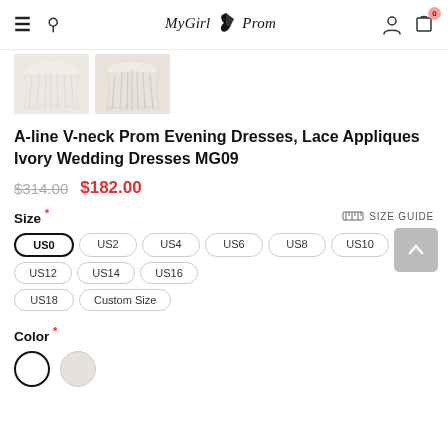MyGirlProm — navigation bar with hamburger menu, search, logo, user icon, cart (0)
[Figure (photo): Two product thumbnail images of ivory/cream dress fabric, showing ruffled/pleated bottom hem details]
A-line V-neck Prom Evening Dresses, Lace Appliques Ivory Wedding Dresses MG09
$314.00  $182.00
Size *
SIZE GUIDE
US0
US2
US4
US6
US8
US10
US12
US14
US16
US18
Custom Size
Color *
Two color swatches: white/ivory (selected, black border) and light cream/beige